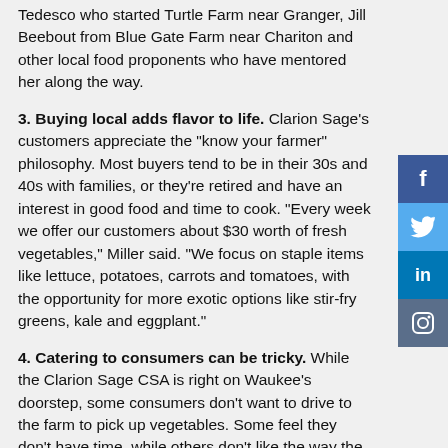Tedesco who started Turtle Farm near Granger, Jill Beebout from Blue Gate Farm near Chariton and other local food proponents who have mentored her along the way.
3. Buying local adds flavor to life. Clarion Sage’s customers appreciate the “know your farmer” philosophy. Most buyers tend to be in their 30s and 40s with families, or they’re retired and have an interest in good food and time to cook. “Every week we offer our customers about $30 worth of fresh vegetables,” Miller said. “We focus on staple items like lettuce, potatoes, carrots and tomatoes, with the opportunity for more exotic options like stir-fry greens, kale and eggplant.”
4. Catering to consumers can be tricky. While the Clarion Sage CSA is right on Waukee’s doorstep, some consumers don’t want to drive to the farm to pick up vegetables. Some feel they don’t have time, while others don’t like the way the gravel road makes their vehicle dusty. When Miller tried offering delivery, some consumers still rejected this option, citing a lack